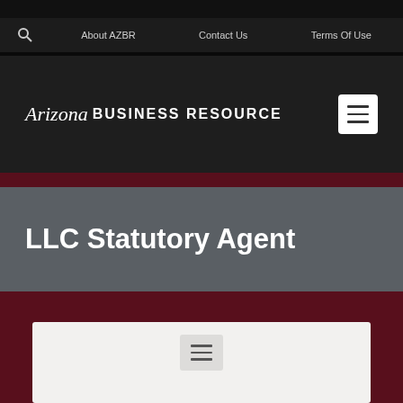About AZBR   Contact Us   Terms Of Use
[Figure (screenshot): Arizona Business Resource logo with italic 'Arizona' and bold uppercase 'Business Resource' text on dark background, with hamburger menu icon]
LLC Statutory Agent
[Figure (screenshot): Hamburger menu icon on light gray background card]